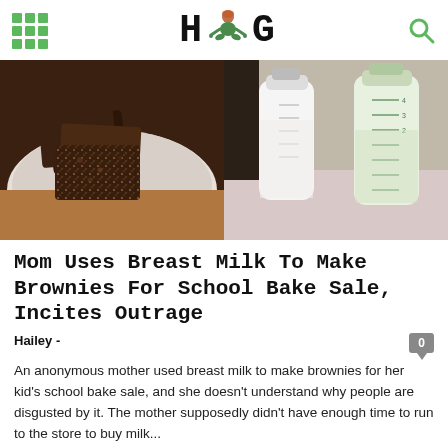H G (logo with figure)
[Figure (photo): Two side-by-side photos: left shows chocolate brownies on a white plate dusted with powdered sugar; right shows two glass baby bottles filled with breast milk]
Mom Uses Breast Milk To Make Brownies For School Bake Sale, Incites Outrage
Hailey -
An anonymous mother used breast milk to make brownies for her kid's school bake sale, and she doesn't understand why people are disgusted by it. The mother supposedly didn't have enough time to run to the store to buy milk...
C